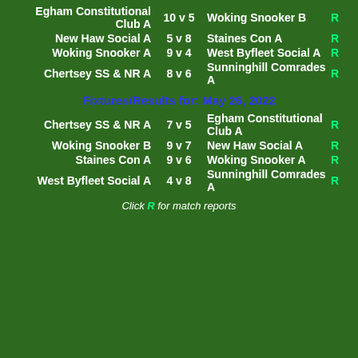| Home | Score | Away | R |
| --- | --- | --- | --- |
| Egham Constitutional Club A | 10 v 5 | Woking Snooker B | R |
| New Haw Social A | 5 v 8 | Staines Con A | R |
| Woking Snooker A | 9 v 4 | West Byfleet Social A | R |
| Chertsey SS & NR A | 8 v 6 | Sunninghill Comrades A | R |
Fixtures/Results for: May 26, 2022
| Home | Score | Away | R |
| --- | --- | --- | --- |
| Chertsey SS & NR A | 7 v 5 | Egham Constitutional Club A | R |
| Woking Snooker B | 9 v 7 | New Haw Social A | R |
| Staines Con A | 9 v 6 | Woking Snooker A | R |
| West Byfleet Social A | 4 v 8 | Sunninghill Comrades A | R |
Click R for match reports